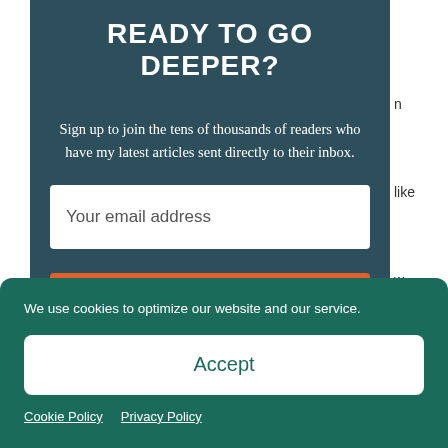READY TO GO DEEPER?
Sign up to join the tens of thousands of readers who have my latest articles sent directly to their inbox.
[Figure (screenshot): Email address input field (white box with placeholder text 'Your email address')]
[Figure (screenshot): Orange Subscribe button]
We use cookies to optimize our website and our service.
[Figure (screenshot): White Accept button on teal cookie consent bar]
Cookie Policy  Privacy Policy